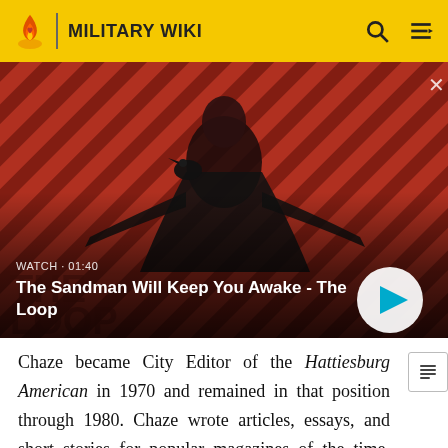MILITARY WIKI
[Figure (screenshot): Video thumbnail showing a dark figure with a raven on shoulder against red and black diagonal stripe background, with title 'The Sandman Will Keep You Awake - The Loop' and watch time 01:40]
Chaze became City Editor of the Hattiesburg American in 1970 and remained in that position through 1980. Chaze wrote articles, essays, and short stories for popular magazines of the time, including Collier's, Cosmopolitan, Life magazine, Reader's Digest, Redbook, and The New